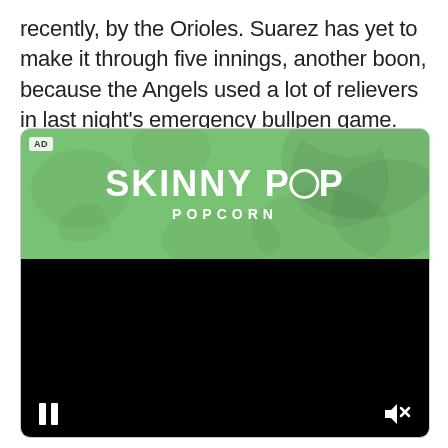recently, by the Orioles. Suarez has yet to make it through five innings, another boon, because the Angels used a lot of relievers in last night's emergency bullpen game.
[Figure (other): Advertisement for SkinnyPop Popcorn. Top half shows a green marble-textured banner with 'SKINNYPOP POPCORN' logo in white text. Bottom half is a black video player area with pause and mute buttons visible.]